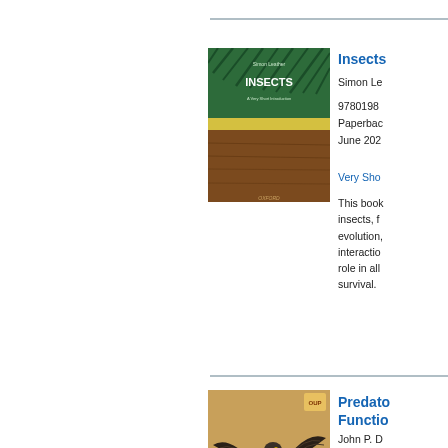[Figure (illustration): Book cover of 'Insects: A Very Short Introduction' - green textured top, yellow middle stripe, brown lower section]
Insects
Simon Le
9780198... Paperback June 202...
Very Sho...
This book insects, f evolution, interactio role in all survival.
[Figure (illustration): Book cover of 'Predator Ecology: Functional...' showing a hawk or eagle with prey]
Predato... Functio...
John P. D...
9780192... Paperbac...